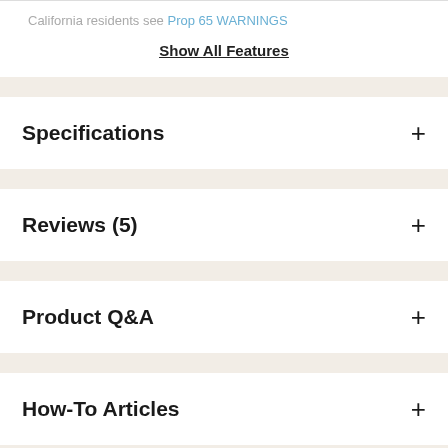California residents see Prop 65 WARNINGS
Show All Features
Specifications
Reviews (5)
Product Q&A
How-To Articles